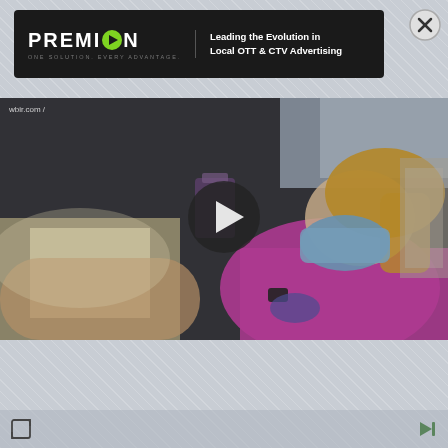[Figure (screenshot): Premion advertisement banner: black background with Premion logo (white text with green play button icon), tagline 'ONE SOLUTION. EVERY ADVANTAGE.', and slogan 'Leading the Evolution in Local OTT & CTV Advertising'. Close button (X) in top right corner.]
[Figure (screenshot): Video player showing a healthcare worker wearing a blue face mask and pink top, with 'wbir.com' watermark in top left. A large play button overlay is centered on the video frame.]